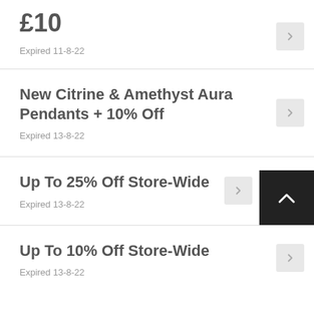£10
Expired 11-8-22
New Citrine & Amethyst Aura Pendants + 10% Off
Expired 13-8-22
Up To 25% Off Store-Wide
Expired 13-8-22
Up To 10% Off Store-Wide
Expired 13-8-22